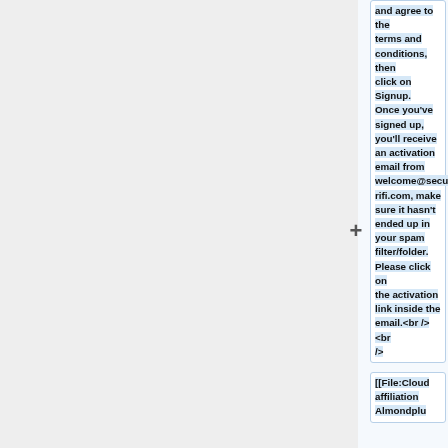and agree to the terms and conditions, then click on Signup. Once you've signed up, you'll receive an activation email from welcome@securifi.com, make sure it hasn't ended up in your spam filter/folder. Please click on the activation link inside the email.<br /><br />
[[File:Cloud affiliation Almondplus